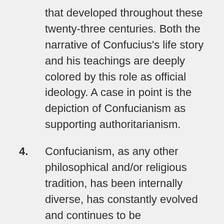that developed throughout these twenty-three centuries. Both the narrative of Confucius's life story and his teachings are deeply colored by this role as official ideology. A case in point is the depiction of Confucianism as supporting authoritarianism.
4. Confucianism, as any other philosophical and/or religious tradition, has been internally diverse, has constantly evolved and continues to be reinterpreted.
5. The representation and assessment of